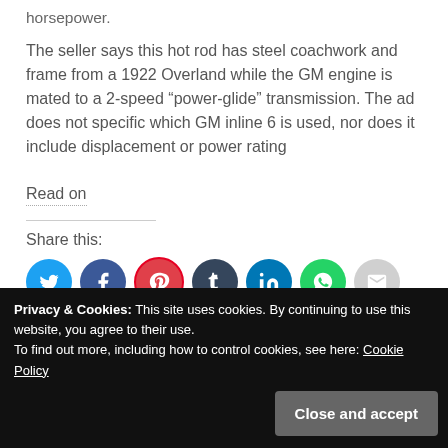horsepower.
The seller says this hot rod has steel coachwork and frame from a 1922 Overland while the GM engine is mated to a 2-speed “power-glide” transmission. The ad does not specific which GM inline 6 is used, nor does it include displacement or power rating
Read on
Share this:
[Figure (infographic): Row of 7 social share icon circles: Twitter (blue), Facebook (dark blue), Pinterest (red), Tumblr (dark navy), LinkedIn (blue), WhatsApp (green), Email (gray)]
Privacy & Cookies: This site uses cookies. By continuing to use this website, you agree to their use. To find out more, including how to control cookies, see here: Cookie Policy
Close and accept
Gallery